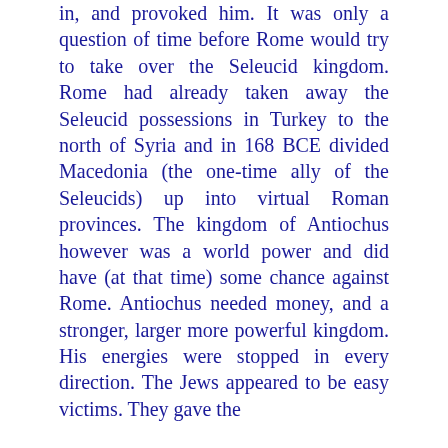in, and provoked him. It was only a question of time before Rome would try to take over the Seleucid kingdom. Rome had already taken away the Seleucid possessions in Turkey to the north of Syria and in 168 BCE divided Macedonia (the one-time ally of the Seleucids) up into virtual Roman provinces. The kingdom of Antiochus however was a world power and did have (at that time) some chance against Rome. Antiochus needed money, and a stronger, larger more powerful kingdom. His energies were stopped in every direction. The Jews appeared to be easy victims. They gave the